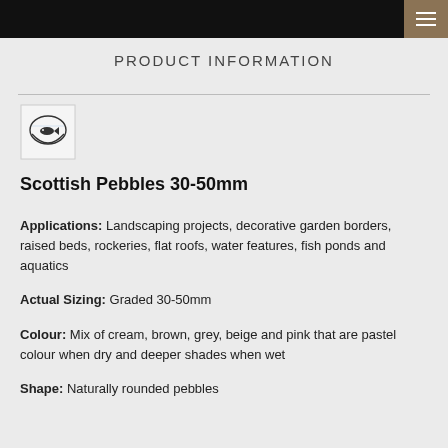PRODUCT INFORMATION
[Figure (logo): Fish bowl logo icon with a small fish inside]
Scottish Pebbles 30-50mm
Applications: Landscaping projects, decorative garden borders, raised beds, rockeries, flat roofs, water features, fish ponds and aquatics
Actual Sizing: Graded 30-50mm
Colour: Mix of cream, brown, grey, beige and pink that are pastel colour when dry and deeper shades when wet
Shape: Naturally rounded pebbles